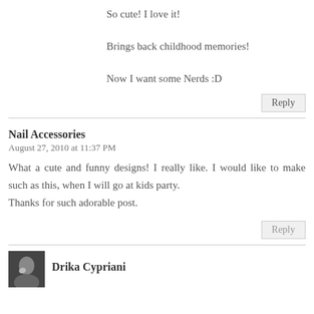So cute! I love it!
Brings back childhood memories!
Now I want some Nerds :D
Reply
Nail Accessories
August 27, 2010 at 11:37 PM
What a cute and funny designs! I really like. I would like to make such as this, when I will go at kids party.
Thanks for such adorable post.
Reply
Drika Cypriani